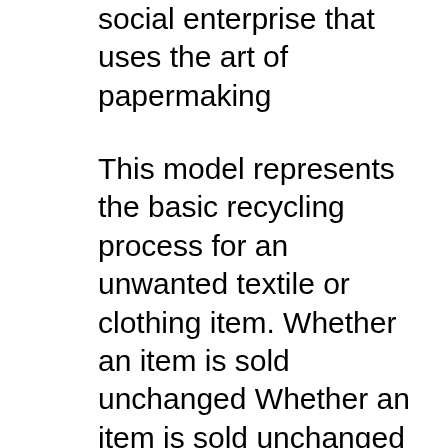social enterprise that uses the art of papermaking
This model represents the basic recycling process for an unwanted textile or clothing item. Whether an item is sold unchanged Whether an item is sold unchanged as secondhand clothing or it is reprocessed into an entirely new item, it follows this cycle of reuse. START A COMMUNITY-BASED WASTE RECYCLING BUSINESS Collection of waste plastic An important first step in starting a plastic recycling business is setting up a collection system of waste plastic. A constant supply of raw material to the factory is of utmost importance for the existence of the